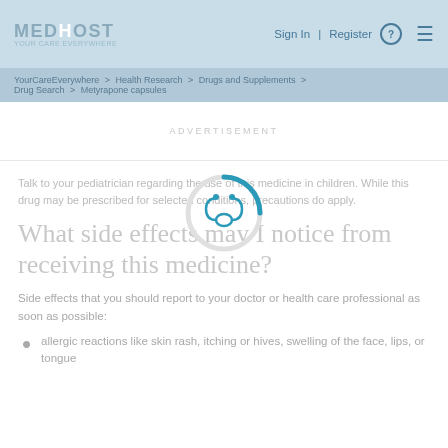MEDHOST | Sign In | Register | (menu)
YourCareEverywhere > Health Research > Drugs and Supplements > Drug Search > Metyrapone capsules
ADVERTISEMENT
Talk to your pediatrician regarding the use of this medicine in children. While this drug may be prescribed for selected conditions, precautions do apply.
What side effects may I notice from receiving this medicine?
Side effects that you should report to your doctor or health care professional as soon as possible:
allergic reactions like skin rash, itching or hives, swelling of the face, lips, or tongue